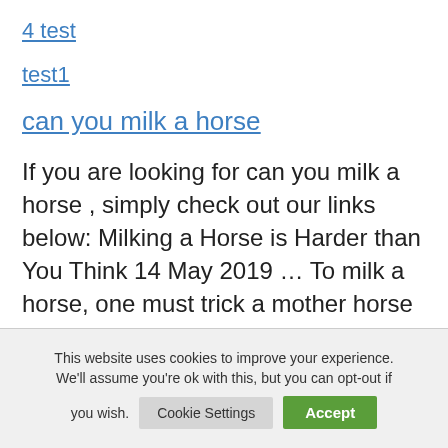4 test
test1
can you milk a horse
If you are looking for can you milk a horse , simply check out our links below: Milking a Horse is Harder than You Think 14 May 2019 … To milk a horse, one must trick a mother horse —and trick her well. Mare milk – Wikipedia Mare milk is milk lactated
This website uses cookies to improve your experience. We'll assume you're ok with this, but you can opt-out if you wish. Cookie Settings  Accept